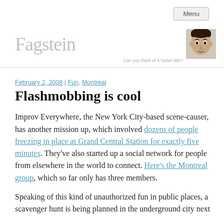Menu
Fagstein
Can you think of a better title?
February 2, 2008 | Fun, Montreal
Flashmobbing is cool
Improv Everywhere, the New York City-based scene-causer, has another mission up, which involved dozens of people freezing in place at Grand Central Station for exactly five minutes. They've also started up a social network for people from elsewhere in the world to connect. Here's the Montreal group, which so far only has three members.
Speaking of this kind of unauthorized fun in public places, a scavenger hunt is being planned in the underground city next